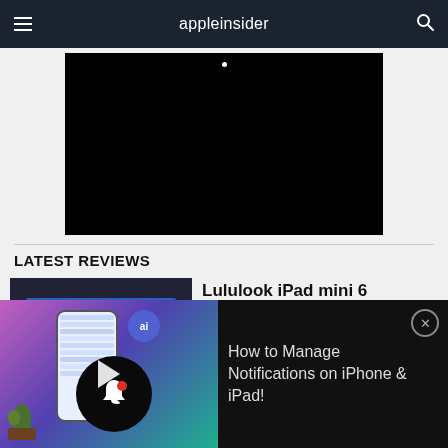appleinsider
[Figure (screenshot): Black video player embedded in webpage, mostly black with a small white dot at top center]
LATEST REVIEWS
[Figure (photo): iPad mini 6 with Lululook Magnetic Keyboard Case attached, showing keyboard and tablet screen]
Lululook iPad mini 6 Magnetic Keyboard Case
[Figure (screenshot): Bottom overlay video panel: thumbnail showing iPhone with notifications UI, AI badge, bell icon overlay, red dot, play button; title reads How to Manage Notifications on iPhone & iPad!]